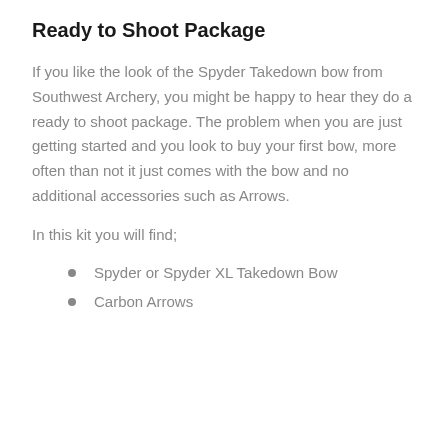Ready to Shoot Package
If you like the look of the Spyder Takedown bow from Southwest Archery, you might be happy to hear they do a ready to shoot package. The problem when you are just getting started and you look to buy your first bow, more often than not it just comes with the bow and no additional accessories such as Arrows.
In this kit you will find;
Spyder or Spyder XL Takedown Bow
Carbon Arrows